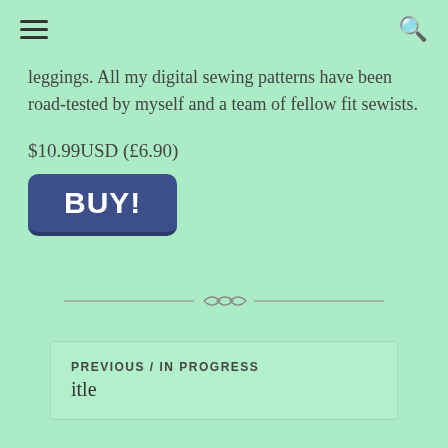☰ [menu]  🔍 [search]
leggings. All my digital sewing patterns have been road-tested by myself and a team of fellow fit sewists.
$10.99USD (£6.90)
[Figure (other): Blue rounded button with text BUY!]
[Figure (other): Decorative divider with diamond/loop ornament between two horizontal lines]
Posted in Gallery and tagged with xyt-workout-top.
PREVIOUS / IN PROGRESS
itle